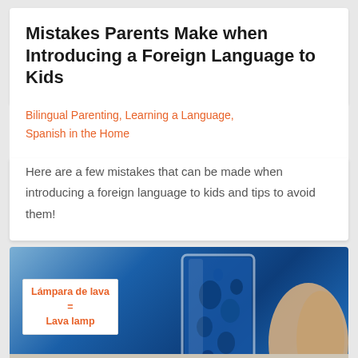Mistakes Parents Make when Introducing a Foreign Language to Kids
Bilingual Parenting, Learning a Language, Spanish in the Home
Here are a few mistakes that can be made when introducing a foreign language to kids and tips to avoid them!
[Figure (photo): Photo of a hand holding a glass filled with blue liquid and bubbles (lava lamp experiment). A white label box overlaid on the left reads 'Lámpara de lava = Lava lamp' in orange text. A blue bar at the bottom reads 'Vamos a hacer una'.]